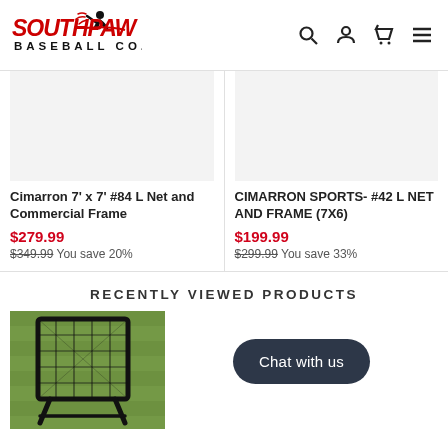Southpaw Baseball Co. — navigation header with logo, search, account, cart, and menu icons
[Figure (photo): Product image placeholder for Cimarron 7' x 7' #84 L Net and Commercial Frame (light gray background)]
Cimarron 7' x 7' #84 L Net and Commercial Frame
$279.99
$349.99 You save 20%
[Figure (photo): Product image placeholder for CIMARRON SPORTS- #42 L NET AND FRAME (7X6) (light gray background)]
CIMARRON SPORTS- #42 L NET AND FRAME (7X6)
$199.99
$299.99 You save 33%
RECENTLY VIEWED PRODUCTS
[Figure (photo): Photo of a black baseball pitching/rebound net on grass]
Chat with us